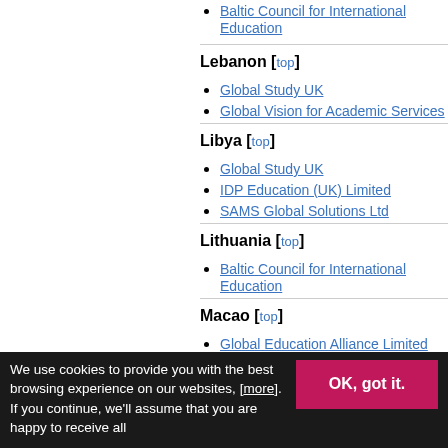Baltic Council for International Education
Lebanon [top]
Global Study UK
Global Vision for Academic Services
Libya [top]
Global Study UK
IDP Education (UK) Limited
SAMS Global Solutions Ltd
Lithuania [top]
Baltic Council for International Education
Macao [top]
Global Education Alliance Limited
Malaysia [top]
AUG Study Services
We use cookies to provide you with the best browsing experience on our websites, [more]. If you continue, we'll assume that you are happy to receive all